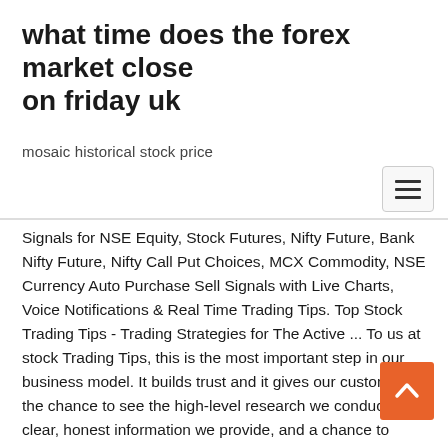what time does the forex market close on friday uk
mosaic historical stock price
Signals for NSE Equity, Stock Futures, Nifty Future, Bank Nifty Future, Nifty Call Put Choices, MCX Commodity, NSE Currency Auto Purchase Sell Signals with Live Charts, Voice Notifications & Real Time Trading Tips. Top Stock Trading Tips - Trading Strategies for The Active ... To us at stock Trading Tips, this is the most important step in our business model. It builds trust and it gives our customers the chance to see the high-level research we conduct, the clear, honest information we provide, and a chance to experience our track record of success. Quora Questions - Answers by Martha Stokes CMT ... Quora Question: What is the global economic impact (stock market, trade, etc.) of a virus, namely coronavirus? Martha Stokes CMT Answer: The impact on the global economy is increasing due to mishandling by several governments and the lack of cohesive accurate